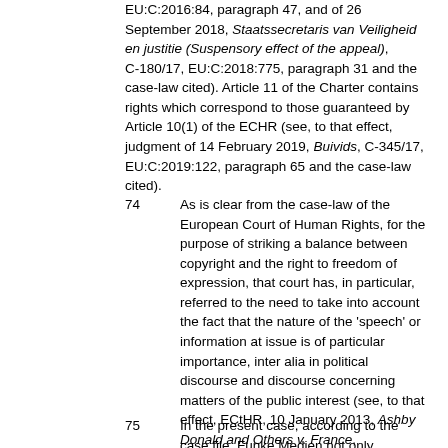EU:C:2016:84, paragraph 47, and of 26 September 2018, Staatssecretaris van Veiligheid en justitie (Suspensory effect of the appeal), C-180/17, EU:C:2018:775, paragraph 31 and the case-law cited). Article 11 of the Charter contains rights which correspond to those guaranteed by Article 10(1) of the ECHR (see, to that effect, judgment of 14 February 2019, Buivids, C-345/17, EU:C:2019:122, paragraph 65 and the case-law cited).
74    As is clear from the case-law of the European Court of Human Rights, for the purpose of striking a balance between copyright and the right to freedom of expression, that court has, in particular, referred to the need to take into account the fact that the nature of the 'speech' or information at issue is of particular importance, inter alia in political discourse and discourse concerning matters of the public interest (see, to that effect, ECtHR, 10 January 2013, Ashby Donald and Others v. France, CE:ECHR:2013:0110JUD003676908, § 39).
75    In the present case, according to the case file, Funke Medien not only published the UdPs on its